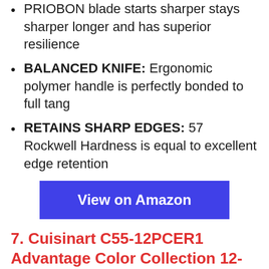PRIOBON blade starts sharper stays sharper longer and has superior resilience
BALANCED KNIFE: Ergonomic polymer handle is perfectly bonded to full tang
RETAINS SHARP EDGES: 57 Rockwell Hardness is equal to excellent edge retention
View on Amazon
7. Cuisinart C55-12PCER1 Advantage Color Collection 12-Piece Knife Set with Blade Guards, Multicolored